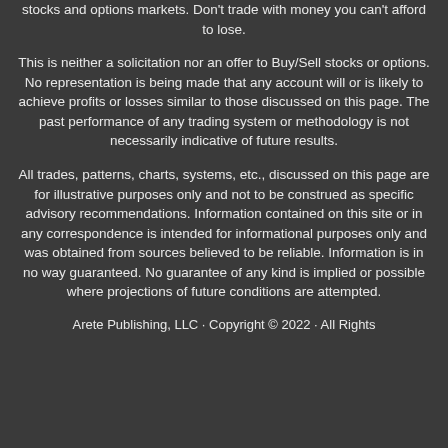stocks and options markets. Don't trade with money you can't afford to lose.
This is neither a solicitation nor an offer to Buy/Sell stocks or options. No representation is being made that any account will or is likely to achieve profits or losses similar to those discussed on this page. The past performance of any trading system or methodology is not necessarily indicative of future results.
All trades, patterns, charts, systems, etc., discussed on this page are for illustrative purposes only and not to be construed as specific advisory recommendations. Information contained on this site or in any correspondence is intended for informational purposes only and was obtained from sources believed to be reliable. Information is in no way guaranteed. No guarantee of any kind is implied or possible where projections of future conditions are attempted.
Arete Publishing, LLC · Copyright © 2022 · All Rights